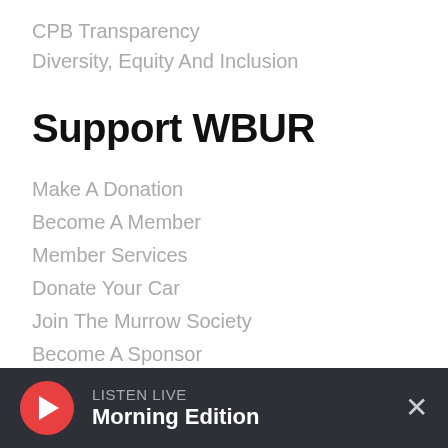CPB Transparency
Diversity, Equity And Inclusion
Support WBUR
Make A Donation
Become A Member
Member Services
Donate Your Car
Join The Murrow Society
Become A Sponsor
Volunteer
LISTEN LIVE
Morning Edition